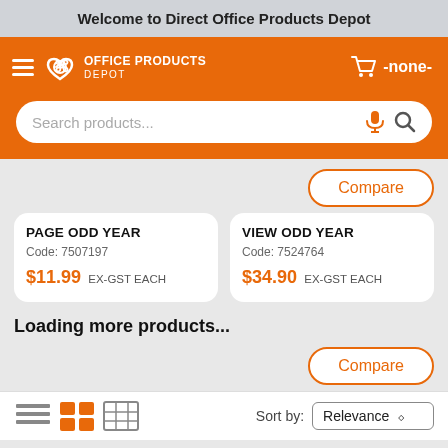Welcome to Direct Office Products Depot
[Figure (screenshot): Orange navigation bar with hamburger menu, Office Products Depot logo, and cart showing -none-]
[Figure (screenshot): Search bar with placeholder 'Search products...' and mic/search icons]
Compare
PAGE ODD YEAR
Code: 7507197
$11.99 Ex-GST EACH
VIEW ODD YEAR
Code: 7524764
$34.90 Ex-GST EACH
Loading more products...
Compare
Sort by: Relevance
Note: Prices are in NZD$ and exclude GST (where...